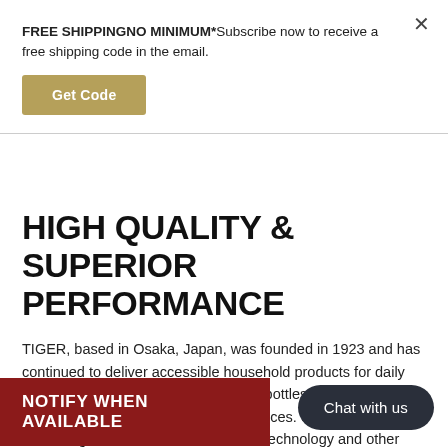FREE SHIPPINGNO MINIMUM*Subscribe now to receive a free shipping code in the email.
Get Code
HIGH QUALITY & SUPERIOR PERFORMANCE
TIGER, based in Osaka, Japan, was founded in 1923 and has continued to deliver accessible household products for daily living. It all started with glass vacuum bottles and went on to eel beverage containers, oking appliances. Since 1923, with the strength of our vacuum insulation technology and other creative products we introduced le to deliver convenience and comfort to ou variety of every day scenarios.
NOTIFY WHEN AVAILABLE
Chat with us